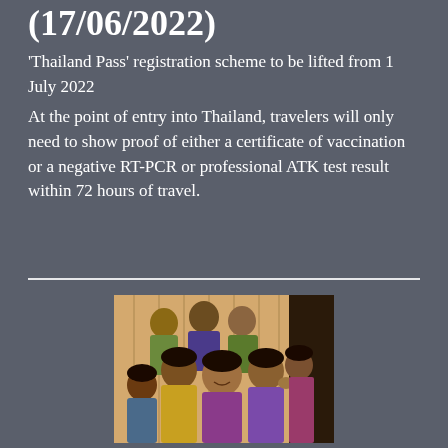(17/06/2022)
'Thailand Pass' registration scheme to be lifted from 1 July 2022
At the point of entry into Thailand, travelers will only need to show proof of either a certificate of vaccination or a negative RT-PCR or professional ATK test result within 72 hours of travel.
[Figure (photo): Group of smiling children posing together, appearing to be in a Southeast Asian setting]